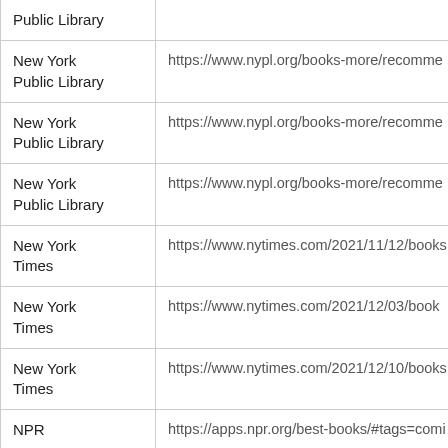| Source | URL |
| --- | --- |
| Public Library | (url truncated) |
| New York Public Library | https://www.nypl.org/books-more/recomme... |
| New York Public Library | https://www.nypl.org/books-more/recomme... |
| New York Public Library | https://www.nypl.org/books-more/recomme... |
| New York Times | https://www.nytimes.com/2021/11/12/books... |
| New York Times | https://www.nytimes.com/2021/12/03/book... |
| New York Times | https://www.nytimes.com/2021/12/10/books... |
| NPR | https://apps.npr.org/best-books/#tags=comi... |
| Omaha Public Library | http://topshelf.omahalibrary.org/#/tag/comi... |